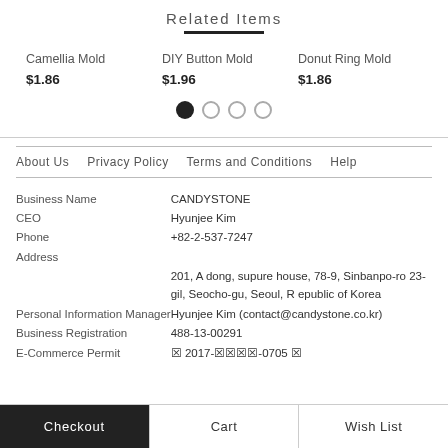Related Items
Camellia Mold
$1.86
DIY Button Mold
$1.96
Donut Ring Mold
$1.86
About Us   Privacy Policy   Terms and Conditions   Help
| Field | Value |
| --- | --- |
| Business Name | CANDYSTONE |
| CEO | Hyunjee Kim |
| Phone | +82-2-537-7247 |
| Address | 201, A dong, supure house, 78-9, Sinbanpo-ro 23-gil, Seocho-gu, Seoul, Republic of Korea |
| Personal Information Manager | Hyunjee Kim (contact@candystone.co.kr) |
| Business Registration | 488-13-00291 |
| E-Commerce Permit | ☒ 2017-☒☒☒☒-0705 ☒ |
Checkout   Cart   Wish List